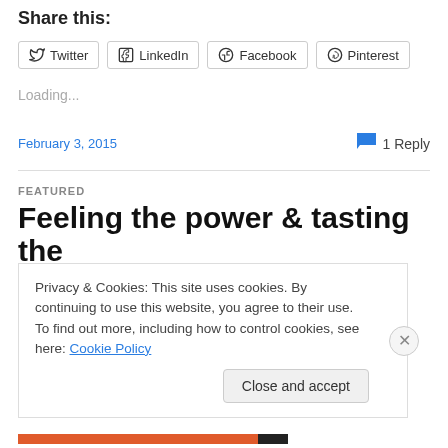Share this:
Twitter  LinkedIn  Facebook  Pinterest
Loading...
February 3, 2015    1 Reply
FEATURED
Feeling the power & tasting the
Privacy & Cookies: This site uses cookies. By continuing to use this website, you agree to their use.
To find out more, including how to control cookies, see here: Cookie Policy
Close and accept